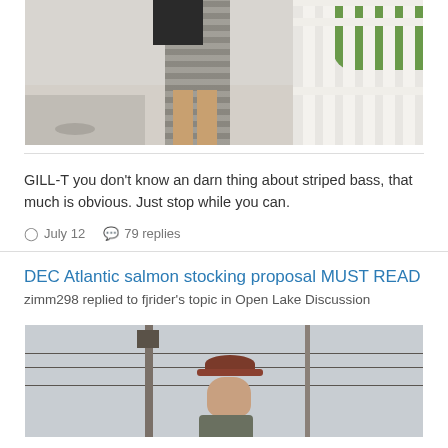[Figure (photo): Person standing on a porch or deck holding a large striped bass fish, white railing visible on right, concrete floor with marks]
GILL-T you don't know an darn thing about striped bass, that much is obvious. Just stop while you can.
July 12   79 replies
DEC Atlantic salmon stocking proposal MUST READ
zimm298 replied to fjrider's topic in Open Lake Discussion
[Figure (photo): Person standing outdoors near a utility pole with wires, wearing a dark cap, sky in background]